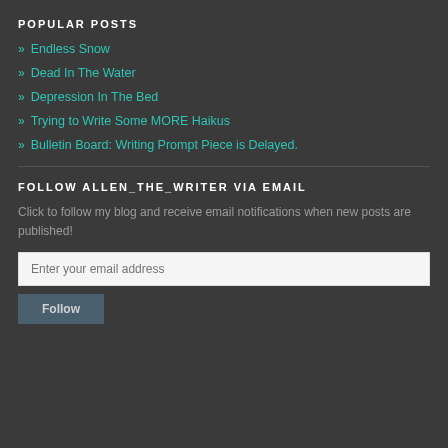POPULAR POSTS
» Endless Snow
» Dead In The Water
» Depression In The Bed
» Trying to Write Some MORE Haikus
» Bulletin Board: Writing Prompt Piece is Delayed.
FOLLOW ALLEN_THE_WRITER VIA EMAIL
Click to follow my blog and receive email notifications when new posts are published!